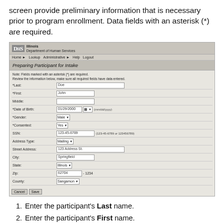screen provide preliminary information that is necessary prior to program enrollment. Data fields with an asterisk (*) are required.
[Figure (screenshot): Illinois Department of Human Services web application screen titled 'Preparing Participant for Intake' showing a form with fields: Last (Doe), First (John), Middle, Date of Birth (01/29/2000), Gender (Male), Consented (Yes), SSN (123-45-6789), Address Type (Mailing), Street Address (123 Address St.), City (Springfield), State (Illinois), Zip (62704-1234), County (Sangamon). Cancel and Save buttons at bottom.]
Enter the participant's Last name.
Enter the participant's First name.
Enter the participant's Middle name.